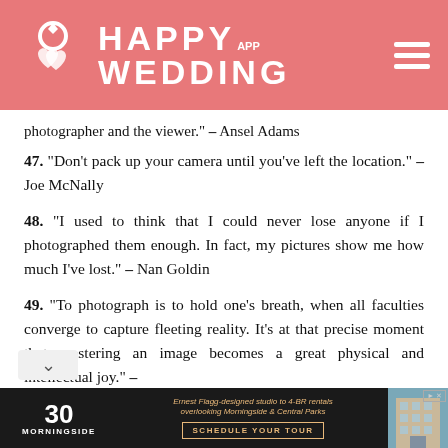HAPPY WEDDING APP
photographer and the viewer." – Ansel Adams
47. "Don't pack up your camera until you've left the location." – Joe McNally
48. "I used to think that I could never lose anyone if I photographed them enough. In fact, my pictures show me how much I've lost." – Nan Goldin
49. "To photograph is to hold one's breath, when all faculties converge to capture fleeting reality. It's at that precise moment that mastering an image becomes a great physical and intellectual joy." –
[Figure (other): Advertisement for 30 Morningside apartments. Text: Ernest Flagg-designed studio to 4-BR rentals overlooking Morningside & Central Parks. SCHEDULE YOUR TOUR. Decorative building photo on the right.]